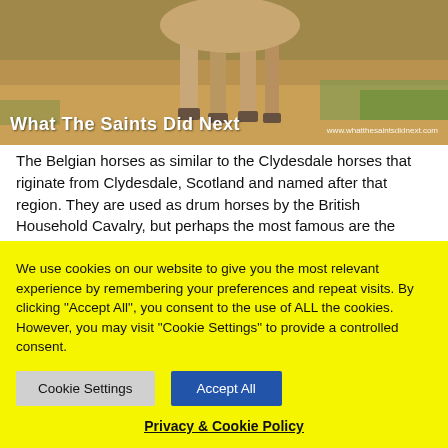[Figure (photo): A photo of a horse (legs and lower body visible) on sandy/earthy ground with some green vegetation. Watermark text 'What The Saints Did Next' on bottom left and 'www.whatthesaintsdidnext.com' on bottom right.]
The Belgian horses as similar to the Clydesdale horses that riginate from Clydesdale, Scotland and named after that region. They are used as drum horses by the British Household Cavalry, but perhaps the most famous are the Budweiser Clydesdale horses.
The farm belongs to her parents and has been in the family for six generations. Stephanie loves the sense of
We use cookies on our website to give you the most relevant experience by remembering your preferences and repeat visits. By clicking "Accept All", you consent to the use of ALL the cookies. However, you may visit "Cookie Settings" to provide a controlled consent.
Cookie Settings
Accept All
Privacy & Cookie Policy